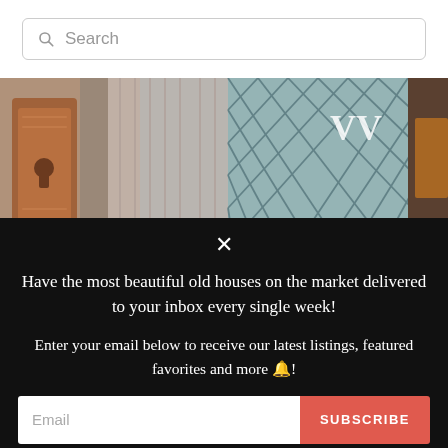[Figure (screenshot): Search bar with magnifying glass icon and placeholder text 'Search']
[Figure (photo): Interior photo showing ornate copper door hardware/lock on the left and diamond-patterned frosted glass panels on the right]
×
Have the most beautiful old houses on the market delivered to your inbox every single week!
Enter your email below to receive our latest listings, featured favorites and more 🔔!
Email
SUBSCRIBE